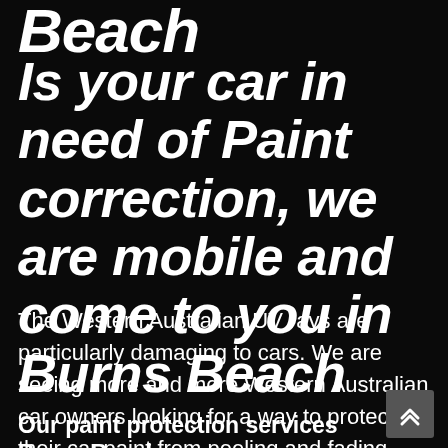Beach
Is your car in need of Paint correction, we are mobile and come to you in Burns Beach
The Western Australian UV rays are particularly damaging to cars. We are seeing more and more Western Australian car owners looking for a way to protect their car paint from peeling and fading. Our experts will ensure that cars paint is repaired if already damaged and then protected from further damage.
Our paint protection services Burns Beach: